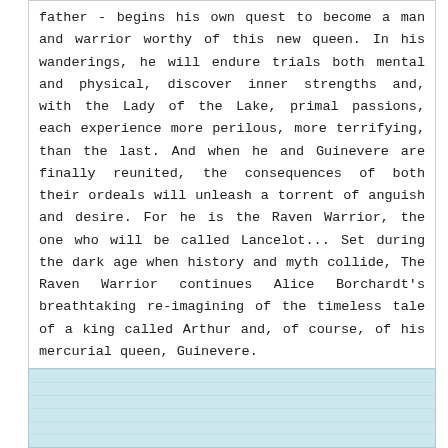father - begins his own quest to become a man and warrior worthy of this new queen. In his wanderings, he will endure trials both mental and physical, discover inner strengths and, with the Lady of the Lake, primal passions, each experience more perilous, more terrifying, than the last. And when he and Guinevere are finally reunited, the consequences of both their ordeals will unleash a torrent of anguish and desire. For he is the Raven Warrior, the one who will be called Lancelot... Set during the dark age when history and myth collide, The Raven Warrior continues Alice Borchardt's breathtaking re-imagining of the timeless tale of a king called Arthur and, of course, of his mercurial queen, Guinevere.
[Figure (other): Light blue ruled/lined box at bottom of page, partially visible]